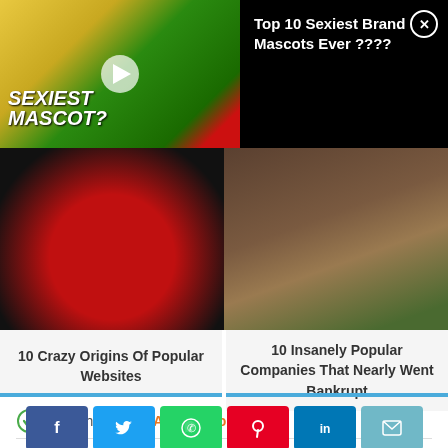[Figure (screenshot): Ad banner showing 'Top 10 Sexiest Brand Mascots Ever ????' with thumbnail image of people and green M&M mascot, close button top right]
[Figure (photo): Dark thumbnail image with red circle shape, related to '10 Crazy Origins Of Popular Websites']
10 Crazy Origins Of Popular Websites
[Figure (photo): Dark brown textured thumbnail related to '10 Insanely Popular Companies That Nearly Went Bankrupt']
10 Insanely Popular Companies That Nearly Went Bankrupt
fact checked by Alex Hanton
[Figure (infographic): Social share buttons: Facebook, Twitter, WhatsApp, Pinterest, LinkedIn, Email]